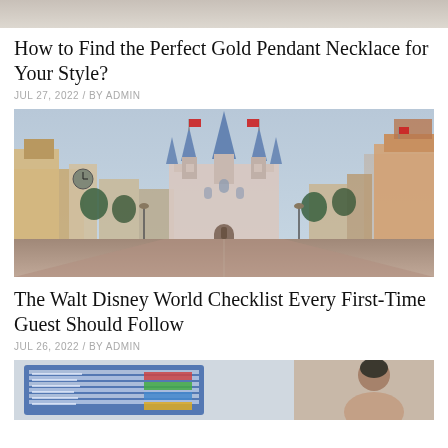[Figure (photo): Top portion of a photo, partially cropped, appears to be fabric or clothing in light tones]
How to Find the Perfect Gold Pendant Necklace for Your Style?
JUL 27, 2022 / BY ADMIN
[Figure (photo): Walt Disney World Cinderella Castle on Main Street USA, with colorful Victorian buildings on both sides, American flags, a clock tower on the left, empty street leading toward the castle]
The Walt Disney World Checklist Every First-Time Guest Should Follow
JUL 26, 2022 / BY ADMIN
[Figure (photo): A monitor or screen showing spreadsheets/charts and a person (likely a woman with dark hair) visible on the right side]